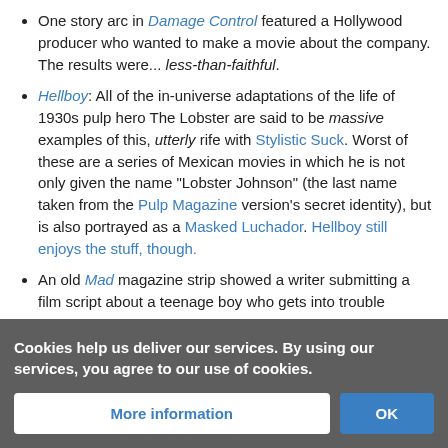One story arc in Damage Control featured a Hollywood producer who wanted to make a movie about the company. The results were... less-than-faithful.
Hellboy: All of the in-universe adaptations of the life of 1930s pulp hero The Lobster are said to be massive examples of this, utterly rife with Stylistic Suck. Worst of these are a series of Mexican movies in which he is not only given the name "Lobster Johnson" (the last name taken from the Pulp Magazine version's secret identity), but is also portrayed as a Masked Luchador. Hellboy still enjoys the stuff, though.
An old Mad magazine strip showed a writer submitting a film script about a teenage boy who gets into trouble with the law, but is exonerated. At the end, after a ludicrous bidding war among all the big obsequious studio execs, his script has been made into...something else.
Cookies help us deliver our services. By using our services, you agree to our use of cookies.